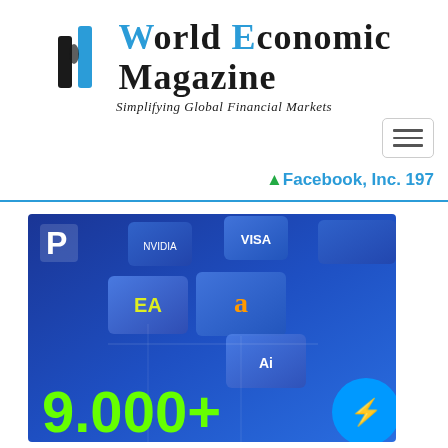[Figure (logo): World Economic Magazine logo with stylized blue chart icon and text 'World Economic Magazine — Simplifying Global Financial Markets']
▲ Facebook, Inc. 197
[Figure (illustration): Promotional banner image with blue gradient background showing various stock/company card tiles (Nvidia, Visa, EA, Amazon, Adobe) floating in 3D perspective, with a white P logo in top-left corner, and large green text '9,000+' at bottom left. A Facebook Messenger circle icon overlaps the bottom-right corner.]